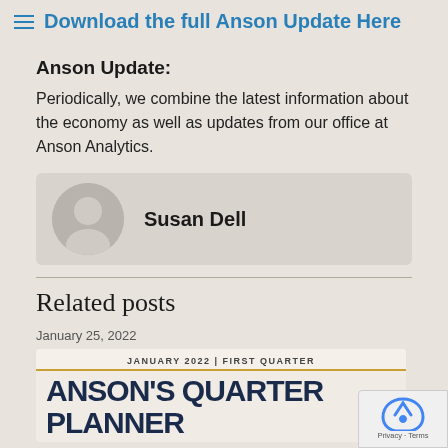Download the full Anson Update Here
Anson Update:
Periodically, we combine the latest information about the economy as well as updates from our office at Anson Analytics.
Susan Dell
Related posts
January 25, 2022
[Figure (screenshot): Related post card for Anson's Quarterly Planner, January 2022 First Quarter]
[Figure (logo): reCAPTCHA widget with Privacy and Terms text]